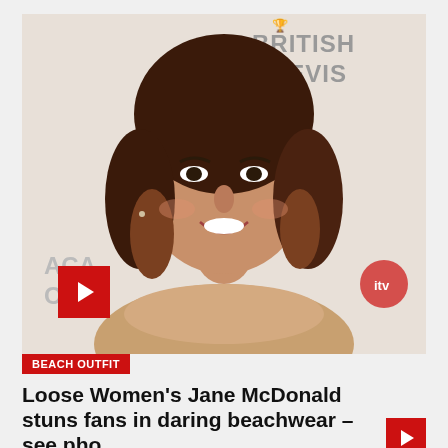[Figure (photo): Smiling woman with brown wavy hair at a British Television Awards event, wearing a gold/rose sparkly top. Background shows BAFTA/British Television logos. A red play button overlay appears at bottom left of image.]
BEACH OUTFIT
Loose Women's Jane McDonald stuns fans in daring beachwear – see pho…
Feb 11, 2022  Jean A. Francis